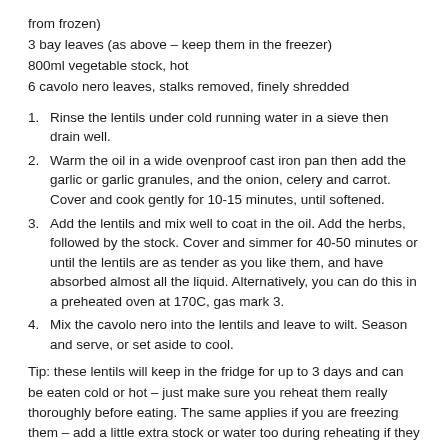from frozen)
3 bay leaves (as above – keep them in the freezer)
800ml vegetable stock, hot
6 cavolo nero leaves, stalks removed, finely shredded
1. Rinse the lentils under cold running water in a sieve then drain well.
2. Warm the oil in a wide ovenproof cast iron pan then add the garlic or garlic granules, and the onion, celery and carrot. Cover and cook gently for 10-15 minutes, until softened.
3. Add the lentils and mix well to coat in the oil. Add the herbs, followed by the stock. Cover and simmer for 40-50 minutes or until the lentils are as tender as you like them, and have absorbed almost all the liquid. Alternatively, you can do this in a preheated oven at 170C, gas mark 3.
4. Mix the cavolo nero into the lentils and leave to wilt. Season and serve, or set aside to cool.
Tip: these lentils will keep in the fridge for up to 3 days and can be eaten cold or hot – just make sure you reheat them really thoroughly before eating. The same applies if you are freezing them – add a little extra stock or water too during reheating if they look a little dry.